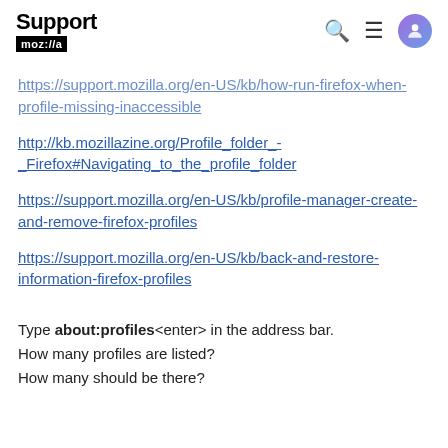Support mozilla://a
https://support.mozilla.org/en-US/kb/how-run-firefox-when-profile-missing-inaccessible
http://kb.mozillazine.org/Profile_folder_-_Firefox#Navigating_to_the_profile_folder
https://support.mozilla.org/en-US/kb/profile-manager-create-and-remove-firefox-profiles
https://support.mozilla.org/en-US/kb/back-and-restore-information-firefox-profiles
Type about:profiles<enter> in the address bar.
How many profiles are listed?
How many should be there?